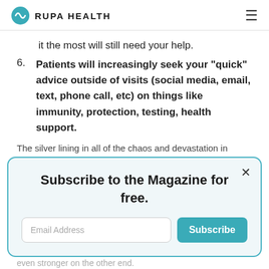RUPA HEALTH
it the most will still need your help.
6. Patients will increasingly seek your “quick” advice outside of visits (social media, email, text, phone call, etc) on things like immunity, protection, testing, health support.
The silver lining in all of the chaos and devastation in
Subscribe to the Magazine for free.
healthy yourself. Here’s how to do that, and come out even stronger on the other end.